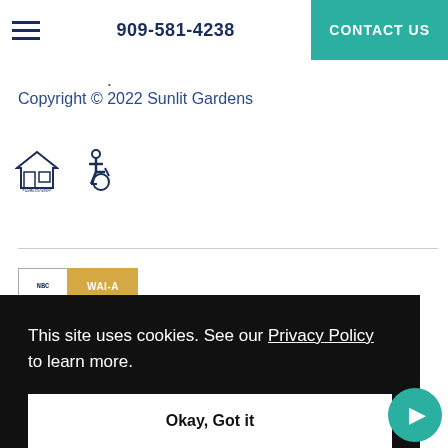909-581-4238  CONTACT US
Copyright © 2022 Sunlit Gardens
[Figure (logo): Equal Housing Opportunity icon and wheelchair accessibility icon]
[Figure (logo): NBC and WAI-A logo strip]
This site uses cookies. See our Privacy Policy to learn more.
Okay, Got it